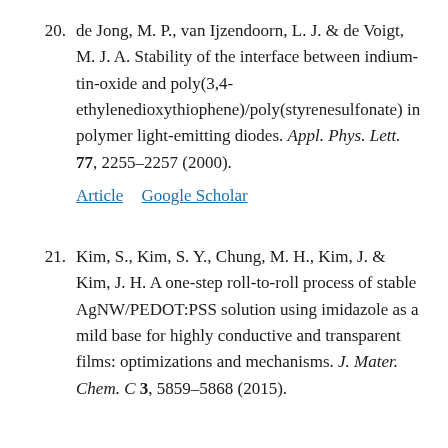20. de Jong, M. P., van Ijzendoorn, L. J. & de Voigt, M. J. A. Stability of the interface between indium-tin-oxide and poly(3,4-ethylenedioxythiophene)/poly(styrenesulfonate) in polymer light-emitting diodes. Appl. Phys. Lett. 77, 2255–2257 (2000).
Article  Google Scholar
21. Kim, S., Kim, S. Y., Chung, M. H., Kim, J. & Kim, J. H. A one-step roll-to-roll process of stable AgNW/PEDOT:PSS solution using imidazole as a mild base for highly conductive and transparent films: optimizations and mechanisms. J. Mater. Chem. C 3, 5859–5868 (2015).